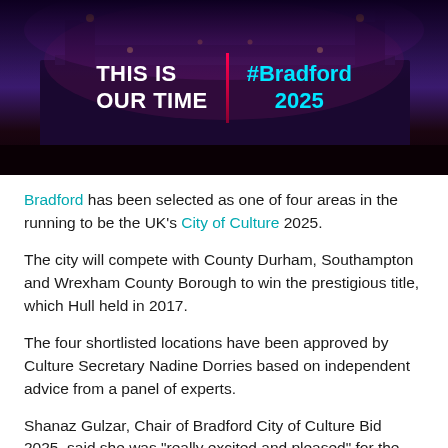[Figure (photo): Night-time photograph of a grand historic building illuminated with purple and pink lights. Overlaid text reads 'THIS IS OUR TIME' on the left and '#Bradford 2025' on the right, separated by a red vertical bar.]
Bradford has been selected as one of four areas in the running to be the UK's City of Culture 2025.
The city will compete with County Durham, Southampton and Wrexham County Borough to win the prestigious title, which Hull held in 2017.
The four shortlisted locations have been approved by Culture Secretary Nadine Dorries based on independent advice from a panel of experts.
Shanaz Gulzar, Chair of Bradford City of Culture Bid 2025, said she was "really excited and pleased" for the city.
"Bradford is the most diverse city on the shortlist, and